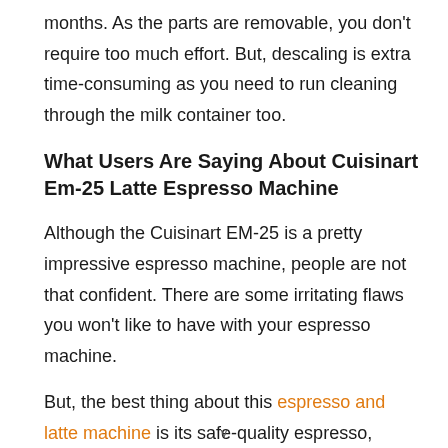months. As the parts are removable, you don't require too much effort. But, descaling is extra time-consuming as you need to run cleaning through the milk container too.
What Users Are Saying About Cuisinart Em-25 Latte Espresso Machine
Although the Cuisinart EM-25 is a pretty impressive espresso machine, people are not that confident. There are some irritating flaws you won't like to have with your espresso machine.
But, the best thing about this espresso and latte machine is its safe-quality espresso, cappuccino, and latte. And,
v